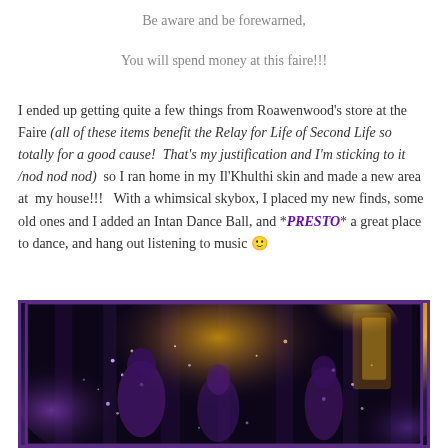Be aware and be forewarned,
You will spend money at this faire!!!
I ended up getting quite a few things from Roawenwood's store at the Faire (all of these items benefit the Relay for Life of Second Life so totally for a good cause!  That's my justification and I'm sticking to it /nod nod nod)  so I ran home in my Il'Khulthi skin and made a new area at  my house!!!   With a whimsical skybox, I placed my new finds, some old ones and I added an Intan Dance Ball, and *PRESTO* a great place to dance, and hang out listening to music 🙂
[Figure (photo): Dark fantasy scene with purple and gold tones showing figures in a mystical forest or dance setting with sparkles and bokeh lighting]